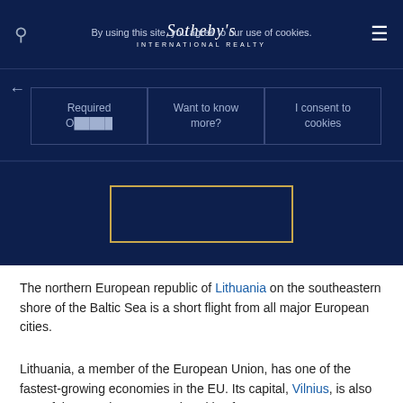Sotheby's INTERNATIONAL REALTY — By using this site, you agree to our use of cookies.
Required O█████
Want to know more?
I consent to cookies
[Figure (other): Dark navy section with a gold-bordered rectangular box in the center]
The northern European republic of Lithuania on the southeastern shore of the Baltic Sea is a short flight from all major European cities.
Lithuania, a member of the European Union, has one of the fastest-growing economies in the EU. Its capital, Vilnius, is also one of the EU's least expensive cities for expats, according to the 2019 Mercer Cost of Living Survey.